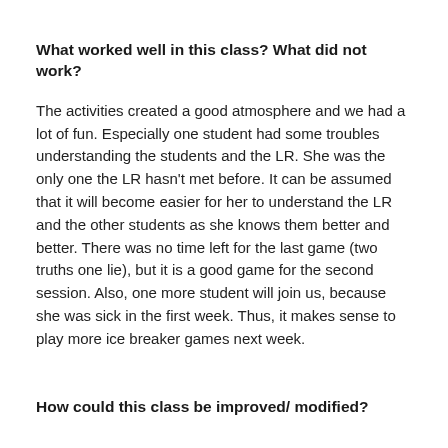What worked well in this class? What did not work?
The activities created a good atmosphere and we had a lot of fun. Especially one student had some troubles understanding the students and the LR. She was the only one the LR hasn't met before. It can be assumed that it will become easier for her to understand the LR and the other students as she knows them better and better. There was no time left for the last game (two truths one lie), but it is a good game for the second session. Also, one more student will join us, because she was sick in the first week. Thus, it makes sense to play more ice breaker games next week.
How could this class be improved/ modified?